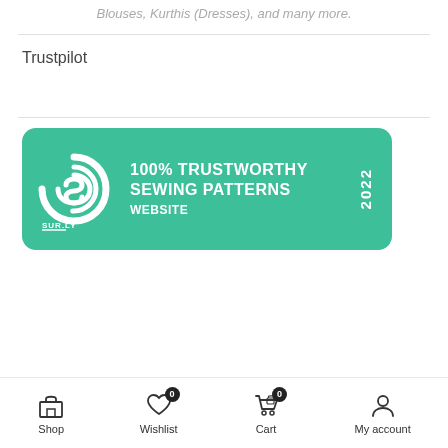Blouses, Kurthis (Dresses), and many more.
Trustpilot
[Figure (logo): SUR.LY badge: 100% TRUSTWORTHY SEWING PATTERNS WEBSITE 2022 on green rounded rectangle with spiral S logo]
Shop  Wishlist 0  Cart 0  My account